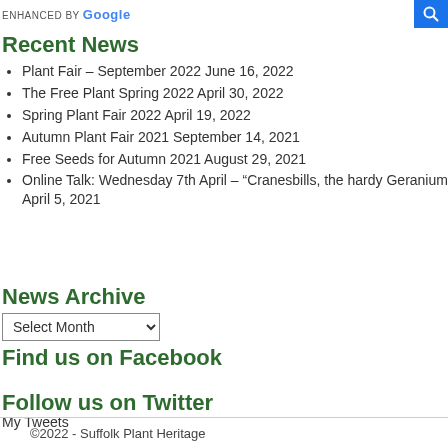ENHANCED BY Google
Recent News
Plant Fair – September 2022 June 16, 2022
The Free Plant Spring 2022 April 30, 2022
Spring Plant Fair 2022 April 19, 2022
Autumn Plant Fair 2021 September 14, 2021
Free Seeds for Autumn 2021 August 29, 2021
Online Talk: Wednesday 7th April – “Cranesbills, the hardy Geranium” April 5, 2021
News Archive
Select Month
Find us on Facebook
Follow us on Twitter
My Tweets
©2022 - Suffolk Plant Heritage